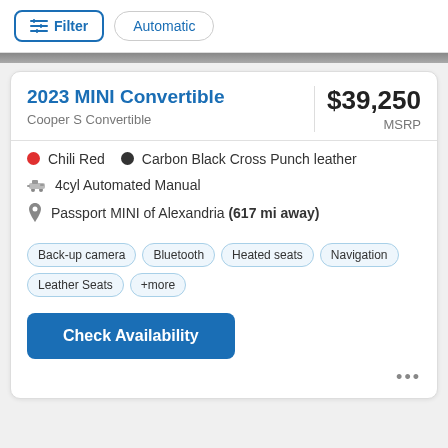Filter  Automatic
2023 MINI Convertible
Cooper S Convertible
$39,250 MSRP
Chili Red  •  Carbon Black Cross Punch leather
4cyl Automated Manual
Passport MINI of Alexandria (617 mi away)
Back-up camera  Bluetooth  Heated seats  Navigation  Leather Seats  +more
Check Availability